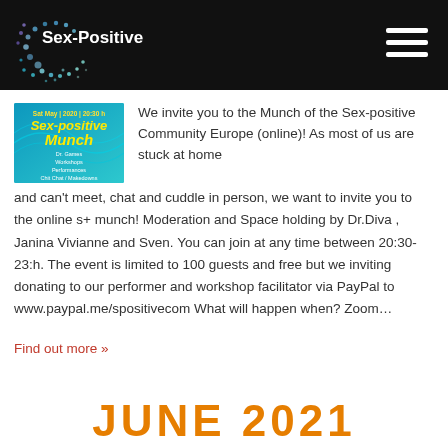Sex-Positive
[Figure (illustration): Event flyer for Sex-positive Munch, teal/blue background with colorful text]
We invite you to the Munch of the Sex-positive Community Europe (online)! As most of us are stuck at home and can't meet, chat and cuddle in person, we want to invite you to the online s+ munch! Moderation and Space holding by Dr.Diva , Janina Vivianne and Sven. You can join at any time between 20:30-23:h. The event is limited to 100 guests and free but we inviting donating to our performer and workshop facilitator via PayPal to www.paypal.me/spositivecom What will happen when? Zoom…
Find out more »
JUNE 2021